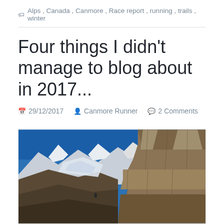Alps , Canada , Canmore , Race report , running , trails , winter
Four things I didn't manage to blog about in 2017...
29/12/2017   Canmore Runner   2 Comments
[Figure (photo): Mountain landscape with snow-capped peaks, glaciers, and rocky cliffs under a blue sky]